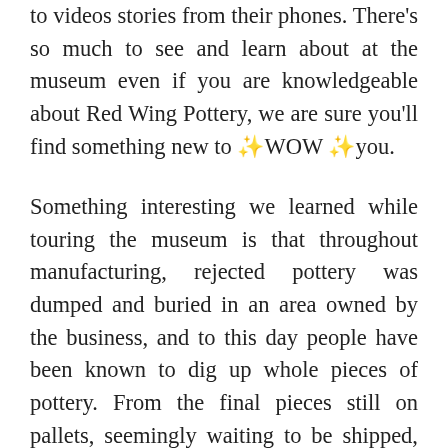to videos stories from their phones. There's so much to see and learn about at the museum even if you are knowledgeable about Red Wing Pottery, we are sure you'll find something new to ✨WOW✨you.
Something interesting we learned while touring the museum is that throughout manufacturing, rejected pottery was dumped and buried in an area owned by the business, and to this day people have been known to dig up whole pieces of pottery. From the final pieces still on pallets, seemingly waiting to be shipped, to an homage to a discarded pottery dig site, Red Wing Pottery Museum is an absolute must-see in Red Wing. Don't forget